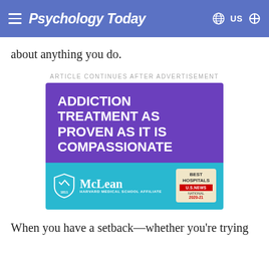Psychology Today
about anything you do.
ARTICLE CONTINUES AFTER ADVERTISEMENT
[Figure (illustration): McLean Hospital advertisement. Purple background with white bold uppercase text: ADDICTION TREATMENT AS PROVEN AS IT IS COMPASSIONATE. Blue lower section with McLean Hospital logo (shield emblem), Harvard Medical School Affiliate text, and US News Best Hospitals National 2020-21 badge.]
When you have a setback—whether you're trying